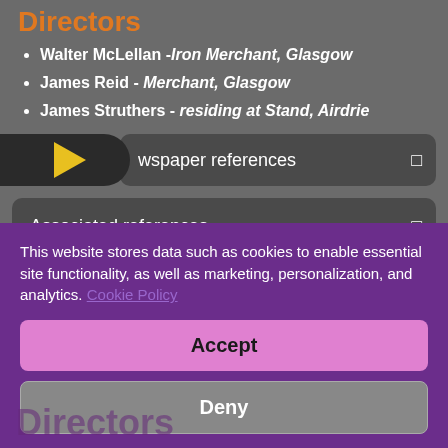Directors
Walter McLellan - Iron Merchant, Glasgow
James Reid - Merchant, Glasgow
James Struthers - residing at Stand, Airdrie
Newspaper references
Associated references
This website stores data such as cookies to enable essential site functionality, as well as marketing, personalization, and analytics. Cookie Policy
Accept
Deny